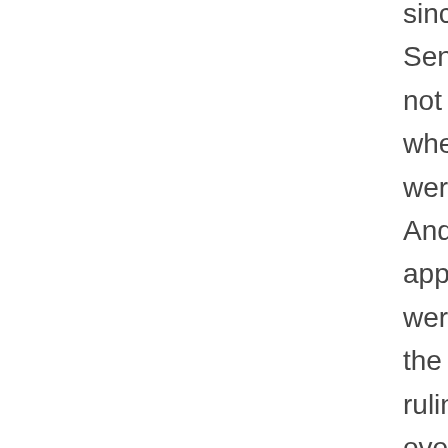since the Senate was not in recess when they were made.  And since the appointments were invalid, the NLRB ruling was overturned.

Presidential Press Secretary Jay Carney was upset, of course. He said the court's decision